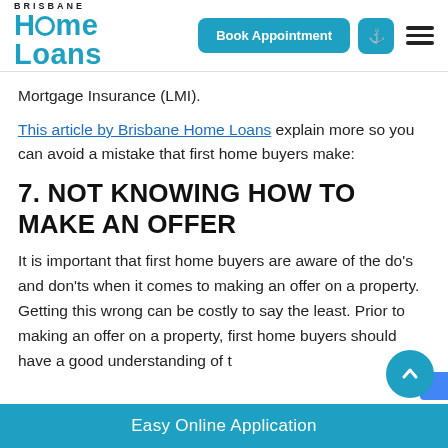Brisbane Home Loans | Book Appointment
Mortgage Insurance (LMI).
This article by Brisbane Home Loans explain more so you can avoid a mistake that first home buyers make:
7. NOT KNOWING HOW TO MAKE AN OFFER
It is important that first home buyers are aware of the do's and don'ts when it comes to making an offer on a property. Getting this wrong can be costly to say the least. Prior to making an offer on a property, first home buyers should have a good understanding of t…
Easy Online Application